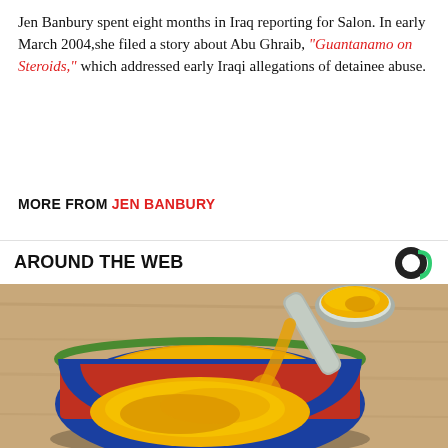Jen Banbury spent eight months in Iraq reporting for Salon. In early March 2004,she filed a story about Abu Ghraib, "Guantanamo on Steroids," which addressed early Iraqi allegations of detainee abuse.
MORE FROM JEN BANBURY
AROUND THE WEB
[Figure (photo): A colorful blue ceramic bowl filled with bright yellow-orange turmeric powder, with a silver spoon scooping the powder above the bowl, on a wooden surface background.]